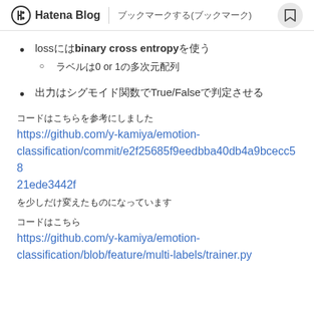Hatena Blog | ブックマークする(ブックマーク)
lossには binary cross entropy を使う
ラベルは0 or 1の多次元配列
出力はシグモイド関数でTrue/Falseで判定させる
コードはこちらを参考にしました
https://github.com/y-kamiya/emotion-classification/commit/e2f25685f9eedbba40db4a9bcecc5821ede3442f
を少しだけ変えたものになっています
コードはこちら
https://github.com/y-kamiya/emotion-classification/blob/feature/multi-labels/trainer.py